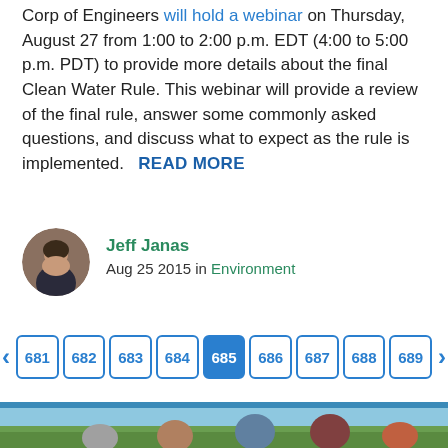Corp of Engineers will hold a webinar on Thursday, August 27 from 1:00 to 2:00 p.m. EDT (4:00 to 5:00 p.m. PDT) to provide more details about the final Clean Water Rule. This webinar will provide a review of the final rule, answer some commonly asked questions, and discuss what to expect as the rule is implemented.   READ MORE
[Figure (photo): Circular avatar photo of Jeff Janas, a man in a suit jacket]
Jeff Janas
Aug 25 2015 in Environment
681 682 683 684 685 686 687 688 689
[Figure (photo): Group photo of five people posing outdoors in a farm field with crops and sky in background]